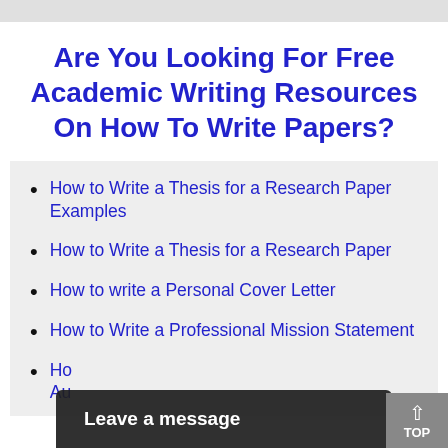Are You Looking For Free Academic Writing Resources On How To Write Papers?
How to Write a Thesis for a Research Paper Examples
How to Write a Thesis for a Research Paper
How to write a Personal Cover Letter
How to Write a Professional Mission Statement
Ho... Au...